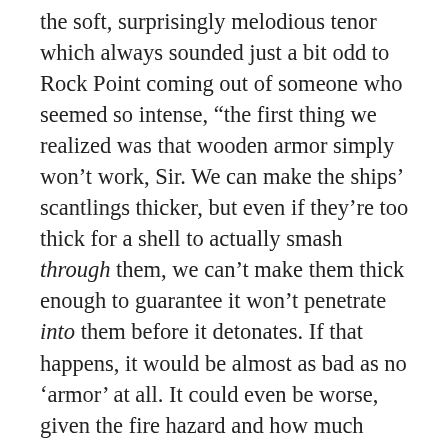the soft, surprisingly melodious tenor which always sounded just a bit odd to Rock Point coming out of someone who seemed so intense, “the first thing we realized was that wooden armor simply won’t work, Sir. We can make the ships’ scantlings thicker, but even if they’re too thick for a shell to actually smash through them, we can’t make them thick enough to guarantee it won’t penetrate into them before it detonates. If that happens, it would be almost as bad as no ‘armor’ at all. It could even be worse, given the fire hazard and how much worse the splinters would be. Another objection to wood is its weight. It’s a lot more massive for the same strength than iron, and the more we looked at it, the more obvious it became that iron armor that